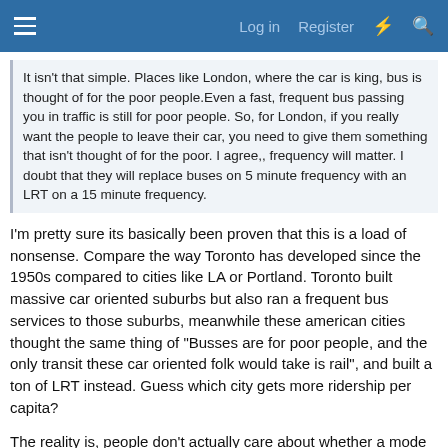Log in   Register
It isn't that simple. Places like London, where the car is king, bus is thought of for the poor people.Even a fast, frequent bus passing you in traffic is still for poor people. So, for London, if you really want the people to leave their car, you need to give them something that isn't thought of for the poor. I agree,, frequency will matter. I doubt that they will replace buses on 5 minute frequency with an LRT on a 15 minute frequency.
I'm pretty sure its basically been proven that this is a load of nonsense. Compare the way Toronto has developed since the 1950s compared to cities like LA or Portland. Toronto built massive car oriented suburbs but also ran a frequent bus services to those suburbs, meanwhile these american cities thought the same thing of "Busses are for poor people, and the only transit these car oriented folk would take is rail", and built a ton of LRT instead. Guess which city gets more ridership per capita?
The reality is, people don't actually care about whether a mode is rail or bus. They might claim they do, but ridership statistics from across the US has failed to actually prove that. Even Denver, a